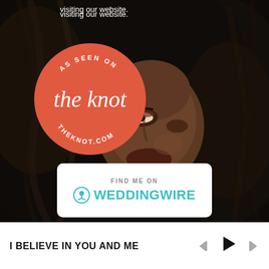visiting our website.
[Figure (photo): Portrait photo of a Black woman with large natural hair against dark background, overlaid with 'As Seen on The Knot - theknot.com' circular badge and 'Find Me on WeddingWire' white banner]
I BELIEVE IN YOU AND ME